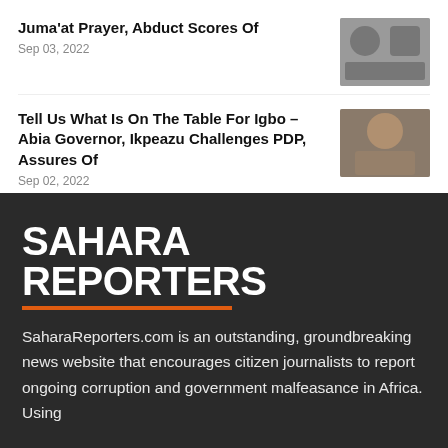Juma'at Prayer, Abduct Scores Of — Sep 03, 2022
Tell Us What Is On The Table For Igbo – Abia Governor, Ikpeazu Challenges PDP, Assures Of — Sep 02, 2022
SAHARA REPORTERS
SaharaReporters.com is an outstanding, groundbreaking news website that encourages citizen journalists to report ongoing corruption and government malfeasance in Africa. Using